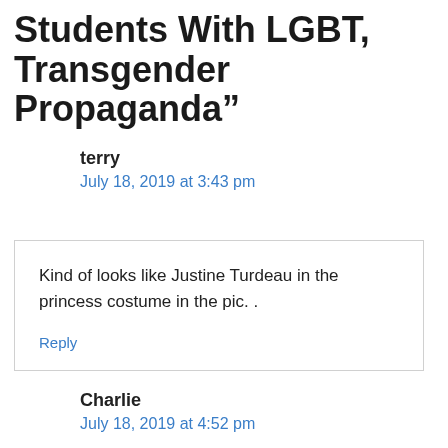Students With LGBT, Transgender Propaganda”
terry
July 18, 2019 at 3:43 pm
Kind of looks like Justine Turdeau in the princess costume in the pic. .
Reply
Charlie
July 18, 2019 at 4:52 pm